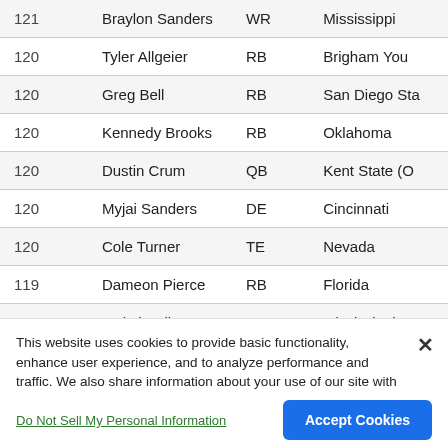| Rank | Name | Pos | School |
| --- | --- | --- | --- |
| 121 | Braylon Sanders | WR | Mississippi |
| 120 | Tyler Allgeier | RB | Brigham You |
| 120 | Greg Bell | RB | San Diego Sta |
| 120 | Kennedy Brooks | RB | Oklahoma |
| 120 | Dustin Crum | QB | Kent State (O |
| 120 | Myjai Sanders | DE | Cincinnati |
| 120 | Cole Turner | TE | Nevada |
| 119 | Dameon Pierce | RB | Florida |
| 119 | Makai Polk | WR | Mississippi St |
This website uses cookies to provide basic functionality, enhance user experience, and to analyze performance and traffic. We also share information about your use of our site with our social media, advertising, and analytics partners.
By using this website you agree to our Terms of Use.
Do Not Sell My Personal Information
Accept Cookies